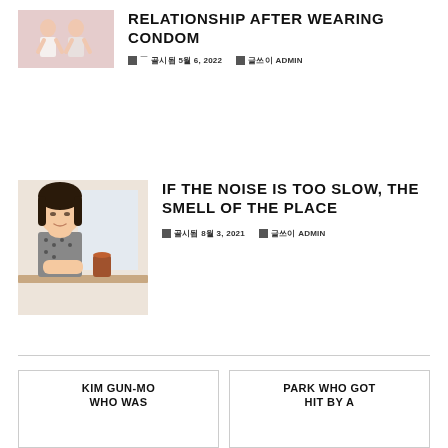[Figure (photo): Two people (women) shown from shoulders up against a light background]
RELATIONSHIP AFTER WEARING CONDOM
게시됨 5월 6, 2022   글쓴이 ADMIN
[Figure (photo): Asian woman sitting at a table resting her chin on her hand, looking pensive, with a cup nearby]
IF THE NOISE IS TOO SLOW, THE SMELL OF THE PLACE
게시됨 8월 3, 2021   글쓴이 ADMIN
KIM GUN-MO WHO WAS
PARK WHO GOT HIT BY A